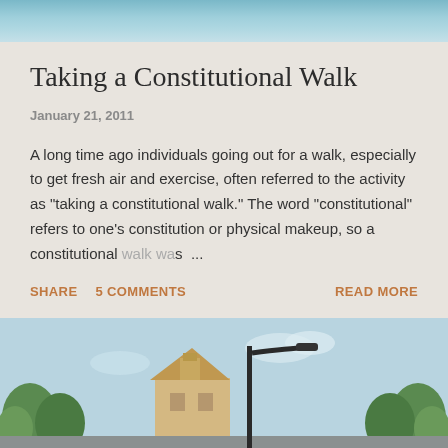[Figure (photo): Top portion of a photo, appears to show a sky or water scene with blue tones]
Taking a Constitutional Walk
January 21, 2011
A long time ago individuals going out for a walk, especially to get fresh air and exercise, often referred to the activity as "taking a constitutional walk." The word "constitutional" refers to one's constitution or physical makeup, so a constitutional walk was ...
SHARE   5 COMMENTS   READ MORE
[Figure (photo): Bottom portion showing a street scene with a lamp post, trees, and a building under a blue sky]